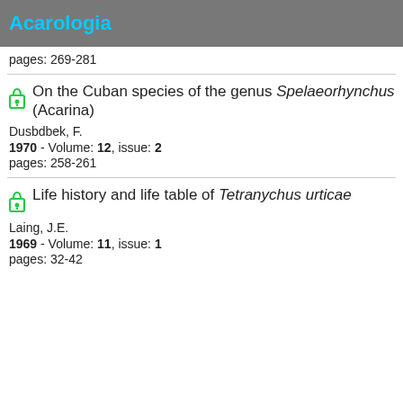Acarologia
pages: 269-281
On the Cuban species of the genus Spelaeorhynchus (Acarina)
Dusbdbek, F.
1970 - Volume: 12, issue: 2
pages: 258-261
Life history and life table of Tetranychus urticae
Laing, J.E.
1969 - Volume: 11, issue: 1
pages: 32-42